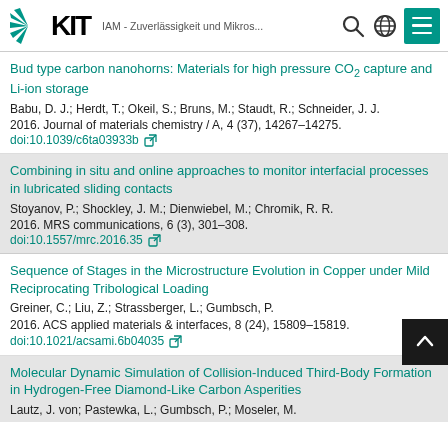KIT — IAM - Zuverlässigkeit und Mikros...
Bud type carbon nanohorns: Materials for high pressure CO₂ capture and Li-ion storage
Babu, D. J.; Herdt, T.; Okeil, S.; Bruns, M.; Staudt, R.; Schneider, J. J.
2016. Journal of materials chemistry / A, 4 (37), 14267–14275. doi:10.1039/c6ta03933b
Combining in situ and online approaches to monitor interfacial processes in lubricated sliding contacts
Stoyanov, P.; Shockley, J. M.; Dienwiebel, M.; Chromik, R. R.
2016. MRS communications, 6 (3), 301–308. doi:10.1557/mrc.2016.35
Sequence of Stages in the Microstructure Evolution in Copper under Mild Reciprocating Tribological Loading
Greiner, C.; Liu, Z.; Strassberger, L.; Gumbsch, P.
2016. ACS applied materials & interfaces, 8 (24), 15809–15819. doi:10.1021/acsami.6b04035
Molecular Dynamic Simulation of Collision-Induced Third-Body Formation in Hydrogen-Free Diamond-Like Carbon Asperities
Lautz, J. von; Pastewka, L.; Gumbsch, P.; Moseler, M.